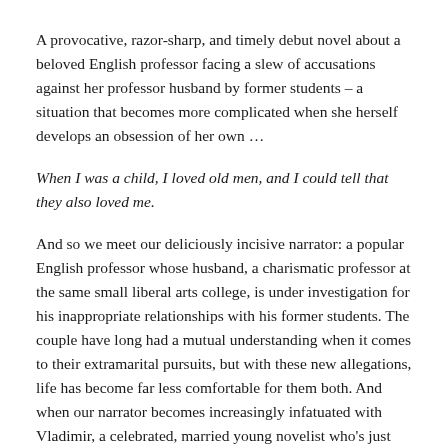A provocative, razor-sharp, and timely debut novel about a beloved English professor facing a slew of accusations against her professor husband by former students – a situation that becomes more complicated when she herself develops an obsession of her own …
When I was a child, I loved old men, and I could tell that they also loved me.
And so we meet our deliciously incisive narrator: a popular English professor whose husband, a charismatic professor at the same small liberal arts college, is under investigation for his inappropriate relationships with his former students. The couple have long had a mutual understanding when it comes to their extramarital pursuits, but with these new allegations, life has become far less comfortable for them both. And when our narrator becomes increasingly infatuated with Vladimir, a celebrated, married young novelist who's just arrived on